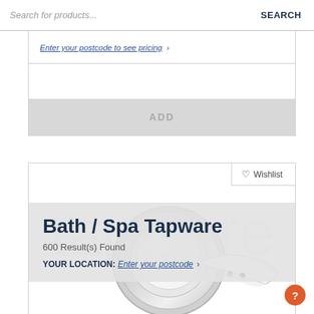Search for products...  SEARCH
Enter your postcode to see pricing ›
ADD
[Figure (screenshot): Chrome bath/spa tapware product image showing a round chrome shower/bath mixer valve with lever handle against a white background]
♡ Wishlist
Bath / Spa Tapware
600 Result(s) Found
YOUR LOCATION: Enter your postcode ›